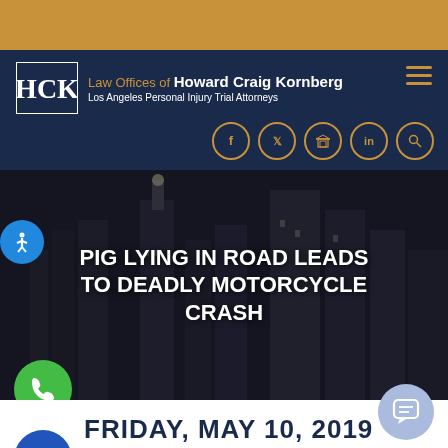[Figure (logo): Gold top decorative bar]
[Figure (logo): HCK Law Offices navigation header with logo, firm name, hamburger menu, and social icons]
[Figure (photo): Black and white city skyline hero image with white bold text overlay: PIG LYING IN ROAD LEADS TO DEADLY MOTORCYCLE CRASH]
PIG LYING IN ROAD LEADS TO DEADLY MOTORCYCLE CRASH
FRIDAY, MAY 10, 2019